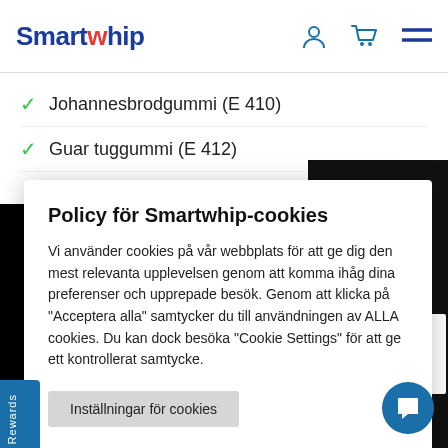[Figure (logo): Smartwhip logo in blue with red dot accent]
Johannesbrodgummi (E 410)
Guar tuggummi (E 412)
Policy för Smartwhip-cookies
Vi använder cookies på vår webbplats för att ge dig den mest relevanta upplevelsen genom att komma ihåg dina preferenser och upprepade besök. Genom att klicka på "Acceptera alla" samtycker du till användningen av ALLA cookies. Du kan dock besöka "Cookie Settings" för att ge ett kontrollerat samtycke.
Inställningar för cookies
Acceptera alla